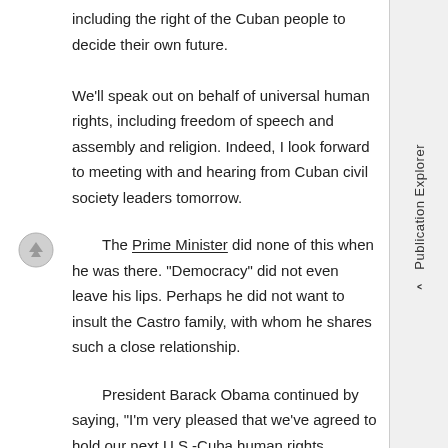including the right of the Cuban people to decide their own future. We’ll speak out on behalf of universal human rights, including freedom of speech and assembly and religion. Indeed, I look forward to meeting with and hearing from Cuban civil society leaders tomorrow.
The Prime Minister did none of this when he was there. “Democracy” did not even leave his lips. Perhaps he did not want to insult the Castro family, with whom he shares such a close relationship.
President Barack Obama continued by saying, “I’m very pleased that we’ve agreed to hold our next U.S.-Cuba human rights dialogue here in Havana this year”, none of which the Prime Minister said.